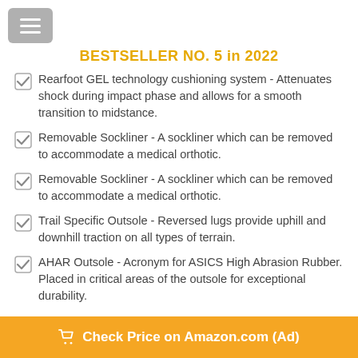BESTSELLER NO. 5 in 2022
Rearfoot GEL technology cushioning system - Attenuates shock during impact phase and allows for a smooth transition to midstance.
Removable Sockliner - A sockliner which can be removed to accommodate a medical orthotic.
Removable Sockliner - A sockliner which can be removed to accommodate a medical orthotic.
Trail Specific Outsole - Reversed lugs provide uphill and downhill traction on all types of terrain.
AHAR Outsole - Acronym for ASICS High Abrasion Rubber. Placed in critical areas of the outsole for exceptional durability.
Check Price on Amazon.com (Ad)